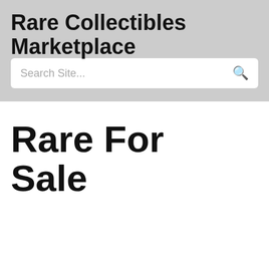Rare Collectibles Marketplace
Search Site...
Rare For Sale